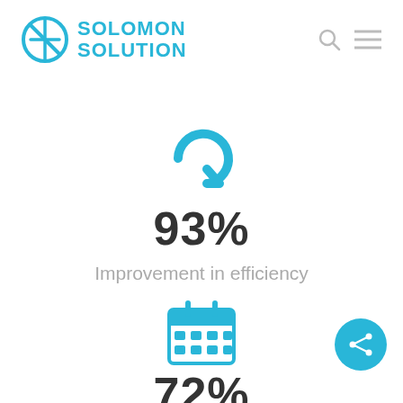[Figure (logo): Solomon Solution logo with circular icon and blue text]
[Figure (infographic): Blue refresh/redo arrow icon]
93%
Improvement in efficiency
[Figure (infographic): Blue calendar icon]
72%